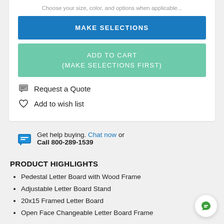Choose your size, color, and options when applicable...
MAKE SELECTIONS
ADD TO CART
(MAKE SELECTIONS FIRST)
Request a Quote
Add to wish list
Get help buying. Chat now or Call 800-289-1539
PRODUCT HIGHLIGHTS
Pedestal Letter Board with Wood Frame
Adjustable Letter Board Stand
20x15 Framed Letter Board
Open Face Changeable Letter Board Frame